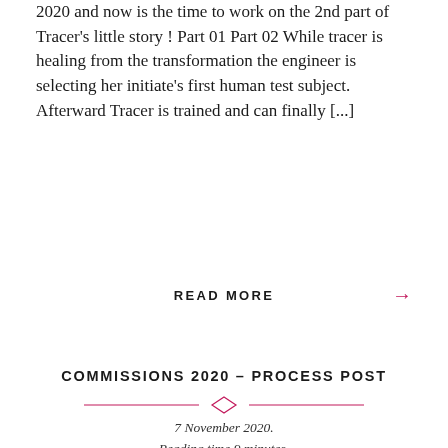2020 and now is the time to work on the 2nd part of Tracer's little story ! Part 01 Part 02 While tracer is healing from the transformation the engineer is selecting her initiate's first human test subject. Afterward Tracer is trained and can finally [...]
READ MORE →
COMMISSIONS 2020 – PROCESS POST
7 November 2020.
Reading time 9 minutes.
[Figure (illustration): Digital illustration of a stylized face/mask with pink-orange skin, purple spots, dark outlines, against a dark navy blue background. Text overlay reads 'ORIONART WIP' in blue in upper left corner.]